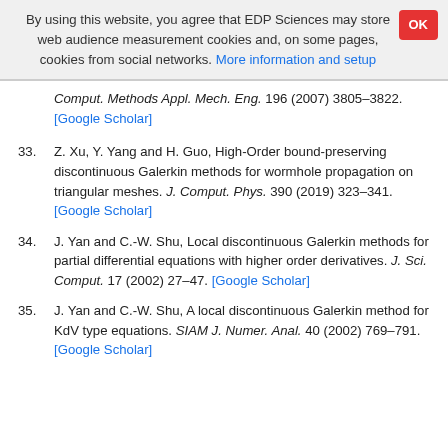By using this website, you agree that EDP Sciences may store web audience measurement cookies and, on some pages, cookies from social networks. More information and setup
Comput. Methods Appl. Mech. Eng. 196 (2007) 3805–3822. [Google Scholar]
33. Z. Xu, Y. Yang and H. Guo, High-Order bound-preserving discontinuous Galerkin methods for wormhole propagation on triangular meshes. J. Comput. Phys. 390 (2019) 323–341. [Google Scholar]
34. J. Yan and C.-W. Shu, Local discontinuous Galerkin methods for partial differential equations with higher order derivatives. J. Sci. Comput. 17 (2002) 27–47. [Google Scholar]
35. J. Yan and C.-W. Shu, A local discontinuous Galerkin method for KdV type equations. SIAM J. Numer. Anal. 40 (2002) 769–791. [Google Scholar]